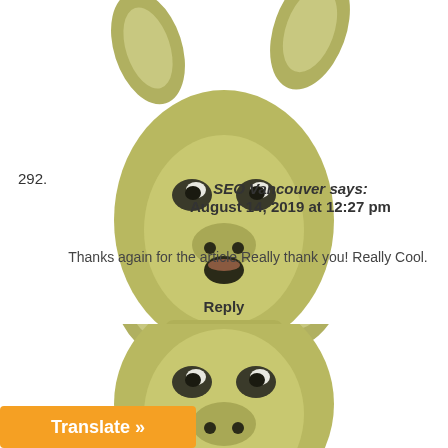[Figure (photo): Top portion: a cartoon/toy kangaroo-like animal head figure, olive-green color, with large ears, dark eyes, and open mouth, shown from roughly shoulders up, cropped at top of image.]
292.
SEO Vancouver says:
August 14, 2019 at 12:27 pm
Thanks again for the article.Really thank you! Really Cool.
Reply
[Figure (photo): Bottom portion: same cartoon/toy kangaroo-like animal head figure, olive-green color, with large ears, partially visible from top to mid-face, cropped at bottom of image.]
Translate »